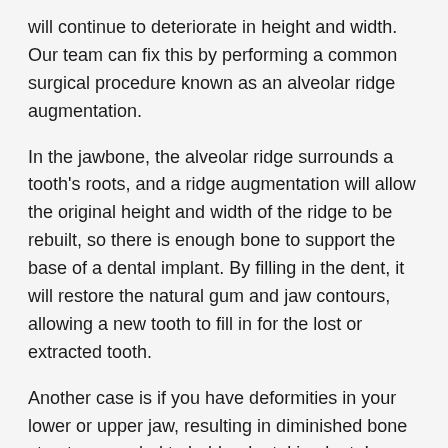will continue to deteriorate in height and width. Our team can fix this by performing a common surgical procedure known as an alveolar ridge augmentation.
In the jawbone, the alveolar ridge surrounds a tooth's roots, and a ridge augmentation will allow the original height and width of the ridge to be rebuilt, so there is enough bone to support the base of a dental implant. By filling in the dent, it will restore the natural gum and jaw contours, allowing a new tooth to fill in for the lost or extracted tooth.
Another case is if you have deformities in your lower or upper jaw, resulting in diminished bone structure needed to hold a dental implant. In addition to developmental defects, damage to the jawbone can arise due to injury or trauma to the area, severe gum disease or denture wear.
When performing a ridge augmentation (usually done under